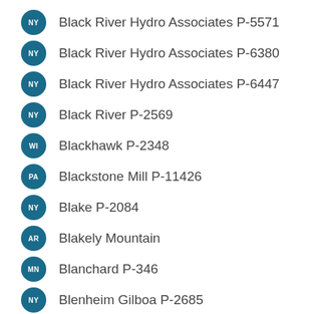NY Black River Hydro Associates P-5571
NY Black River Hydro Associates P-6380
NY Black River Hydro Associates P-6447
NY Black River P-2569
WI Blackhawk P-2348
PA Blackstone Mill P-11426
NY Blake P-2084
AR Blakely Mountain
MN Blanchard P-346
NY Blenheim Gilboa P-2685